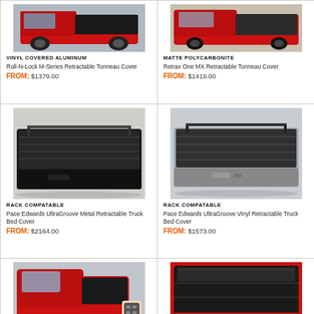[Figure (photo): Red truck tonneau cover - vinyl covered aluminum label]
VINYL COVERED ALUMINUM
Roll-N-Lock M-Series Retractable Tonneau Cover
FROM: $1379.00
[Figure (photo): Red truck tonneau cover - matte polycarbonite label]
MATTE POLYCARBONITE
Retrax One MX Retractable Tonneau Cover
FROM: $1419.00
[Figure (photo): Black retractable truck bed cover with rack - rack compatable label]
RACK COMPATABLE
Pace Edwards UltraGroove Metal Retractable Truck Bed Cover
FROM: $2164.00
[Figure (photo): Silver truck retractable bed cover with rack - rack compatable label]
RACK COMPATABLE
Pace Edwards UltraGroove Vinyl Retractable Truck Bed Cover
FROM: $1573.00
[Figure (photo): Red truck with electric retractable bed cover and remote - electric label]
ELECTRIC
[Figure (photo): Red truck bed with glossy finish retractable cover - glossy finish label]
GLOSSY FINISH